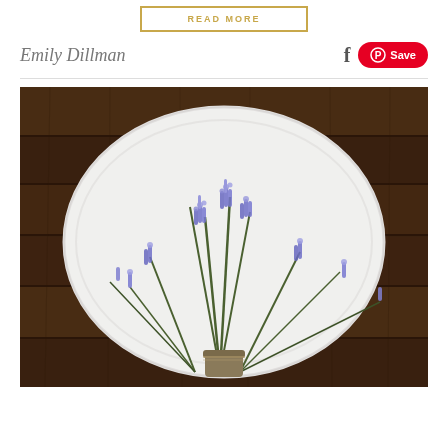READ MORE
Emily Dillman
[Figure (photo): Photo of purple lavender-like flowers in a small rustic pot placed in front of a large white oval decorative plate, set on a dark wooden plank background.]